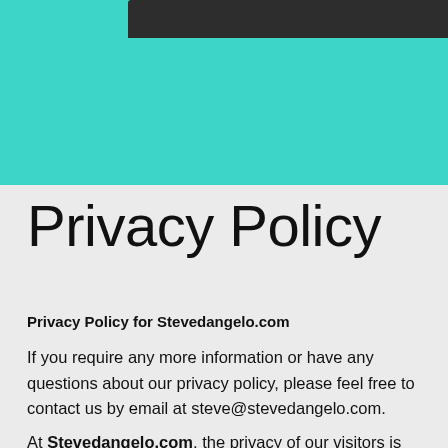[Figure (other): Teal/turquoise header banner with a dark navigation bar at the top]
Privacy Policy
Privacy Policy for Stevedangelo.com
If you require any more information or have any questions about our privacy policy, please feel free to contact us by email at steve@stevedangelo.com.
At Stevedangelo.com, the privacy of our visitors is